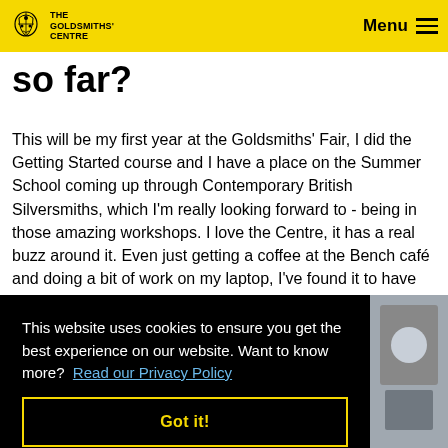The Goldsmiths' Centre | Menu
so far?
This will be my first year at the Goldsmiths' Fair, I did the Getting Started course and I have a place on the Summer School coming up through Contemporary British Silversmiths, which I'm really looking forward to - being in those amazing workshops. I love the Centre, it has a real buzz around it. Even just getting a coffee at the Bench café and doing a bit of work on my laptop, I've found it to have such a friendly atmosphere.
This website uses cookies to ensure you get the best experience on our website. Want to know more? Read our Privacy Policy
Got it!
[Figure (photo): Partial photo visible on right side, appears to show a workshop or studio environment]